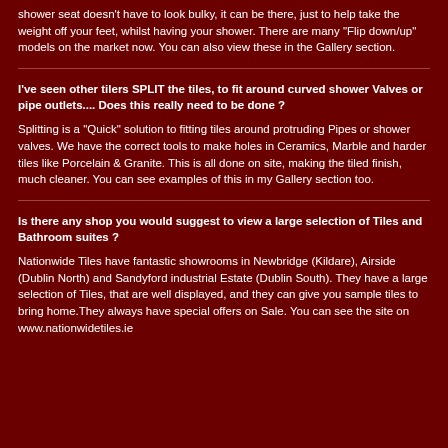shower seat doesn't have to look bulky, it can be there, just to help take the weight off your feet, whilst having your shower. There are many "Flip down/up" models on the market now. You can also view these in the Gallery section.
I've seen other tilers SPLIT the tiles, to fit around curved shower Valves or pipe outlets.... Does this really need to be done ?
Splitting is a "Quick" solution to fitting tiles around protruding Pipes or shower valves. We have the correct tools to make holes in Ceramics, Marble and harder tiles like Porcelain & Granite. This is all done on site, making the tiled finish, much cleaner. You can see examples of this in my Gallery section too.
Is there any shop you would suggest to view a large selection of Tiles and Bathroom suites ?
Nationwide Tiles have fantastic showrooms in Newbridge (Kildare), Airside (Dublin North) and Sandyford industrial Estate (Dublin South). They have a large selection of Tiles, that are well displayed, and they can give you sample tiles to bring home.They always have special offers on Sale. You can see the site on www.nationwidetiles.ie